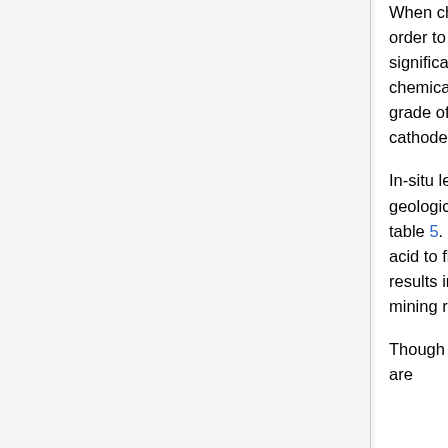When chemical precipitation is used, solvents are added to the copper solution in order to solidify copper ions to extract them from the sulfuric acid mixture. SX/EW is a significantly more complex processing method involving two separate stages. Firstly, chemicals that selectively bind to copper ions are added to the solution to improve the grade of the solution 6. The copper is extracted from the second solution using cathodes that collect pure copper ions.
In-situ leaching of copper can only be used as an extraction method in specific geological conditions. Firstly, the copper orebody must be below the natural water table 5. Secondly, the host rock must be adequately fractured to allow for the sulfuric acid to flow through and dissolve the copper reserve. A larger amount of fracturing results in a greater amount of copper being exposed to the acid allowing for a greater mining recovery 5.
Though in-situ leaching is primarily used to extract uranium, numerous mines globally are